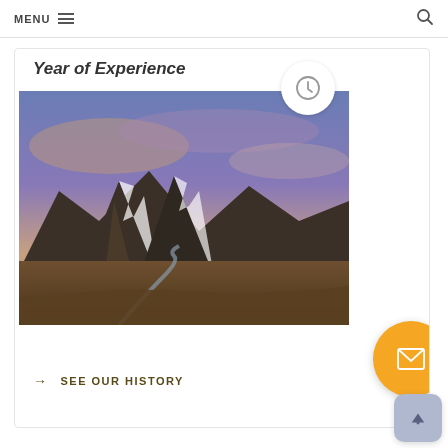MENU
Year of Experience
[Figure (photo): Mountain landscape with snow-capped peaks under a dramatic purple and orange sunset sky, with a winding river valley in the foreground]
→ SEE OUR HISTORY